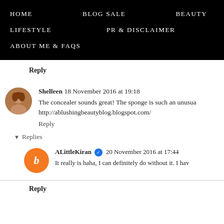HOME   BLOG SALE   BEAUTY   LIFESTYLE   PR & DISCLAIMER   ABOUT ME & FAQs
Reply
Shelleen  18 November 2016 at 19:18
The concealer sounds great! The sponge is such an unusual http://ablushingbeautyblog.blogspot.com/
Reply
▾ Replies
ALittleKiran ✔ 20 November 2016 at 17:44
It really is haha, I can definitely do without it. I hav
Reply